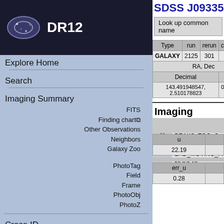SDSS J093358.06+023036.6
| Type | run | rerun | camcol | fiel... |
| --- | --- | --- | --- | --- |
| GALAXY | 2125 | 301 | 1 | 16... |
| RA, Dec |
| --- |
| Decimal | Sexage... |
| 143.491948547, 2.510178823 | 09:33:58.06, -... |
Imaging
| Flags | BAD_MOVING_FIT_CHILD PEAKS_TOO_C... STATIONARY BAD_MOVING_FIT NODEBL... MOVED BINNED1 |
| --- | --- |
| u |
| --- |
| 22.19 |
| err_u |
| --- |
| 0.28 |